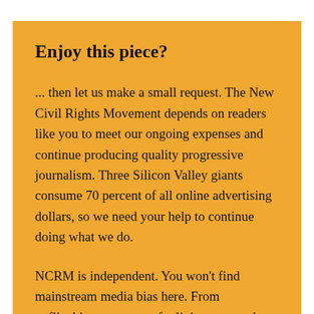Enjoy this piece?
... then let us make a small request. The New Civil Rights Movement depends on readers like you to meet our ongoing expenses and continue producing quality progressive journalism. Three Silicon Valley giants consume 70 percent of all online advertising dollars, so we need your help to continue doing what we do.
NCRM is independent. You won't find mainstream media bias here. From unflinching coverage of religious extremism to spotlighting...